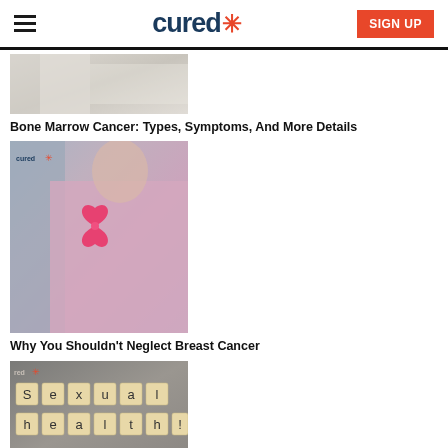cured [logo with asterisk] | SIGN UP
[Figure (photo): Partial photo of bone marrow or medical/hospital related image, mostly white/grey tones]
Bone Marrow Cancer: Types, Symptoms, And More Details
[Figure (photo): Woman wearing pink top with pink breast cancer awareness ribbon, grey cardigan, cured watermark]
Why You Shouldn't Neglect Breast Cancer
[Figure (photo): Scrabble/letter tiles spelling 'Sexual health!' on grey concrete background, cured watermark]